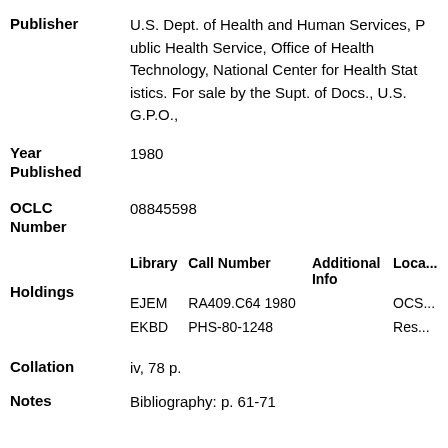Publisher: U.S. Dept. of Health and Human Services, Public Health Service, National Center for Health Statistics. For sale by the Supt. of Docs., U.S. G.P.O.,
Year Published: 1980
OCLC Number: 08845598
| Library | Call Number | Additional Info | Location |
| --- | --- | --- | --- |
| EJEM | RA409.C64 1980 |  | OCS... |
| EKBD | PHS-80-1248 |  | Res... |
Collation: iv, 78 p.
Notes: Bibliography: p. 61-71